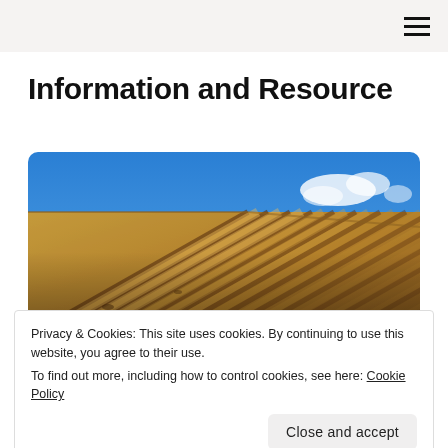Information and Resource
[Figure (photo): Close-up photograph of corrugated roof tiles with a blue sky and white clouds visible in the upper right corner. The tiles appear weathered and warm brown/golden in color, with deep ridges running diagonally.]
Privacy & Cookies: This site uses cookies. By continuing to use this website, you agree to their use.
To find out more, including how to control cookies, see here: Cookie Policy
Close and accept
Weatherproof?